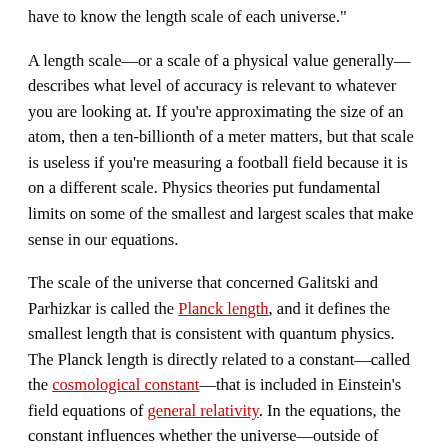have to know the length scale of each universe."
A length scale—or a scale of a physical value generally—describes what level of accuracy is relevant to whatever you are looking at. If you're approximating the size of an atom, then a ten-billionth of a meter matters, but that scale is useless if you're measuring a football field because it is on a different scale. Physics theories put fundamental limits on some of the smallest and largest scales that make sense in our equations.
The scale of the universe that concerned Galitski and Parhizkar is called the Planck length, and it defines the smallest length that is consistent with quantum physics. The Planck length is directly related to a constant—called the cosmological constant—that is included in Einstein's field equations of general relativity. In the equations, the constant influences whether the universe—outside of gravitational influences—tends to expand or contract.
This constant is fundamental to our universe. So to determine